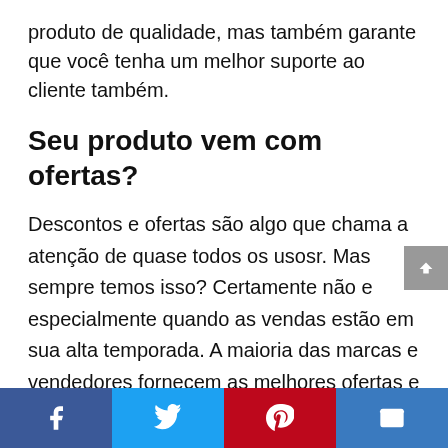produto de qualidade, mas também garante que você tenha um melhor suporte ao cliente também.
Seu produto vem com ofertas?
Descontos e ofertas são algo que chama a atenção de quase todos os usosr. Mas sempre temos isso? Certamente não e especialmente quando as vendas estão em sua alta temporada. A maioria das marcas e vendedores fornecem as melhores ofertas e cupons de desconto na época festiva e esse é o melhor momento do ano em que se poderia facilmente obter seu produto preferido pelo menos preços possíveis. Como tudo foi online agora, tornou-se muito mais
Facebook | Twitter | Pinterest | Email